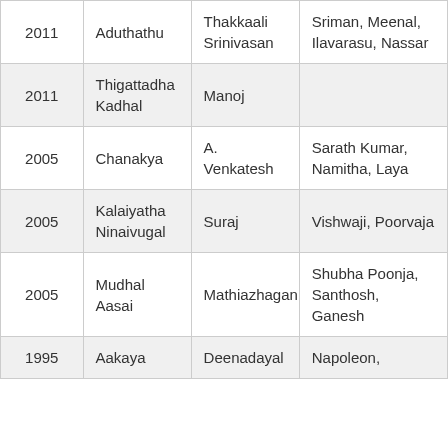| 2011 | Aduthathu | Thakkaali Srinivasan | Sriman, Meenal, Ilavarasu, Nassar |
| 2011 | Thigattadha Kadhal | Manoj |  |
| 2005 | Chanakya | A. Venkatesh | Sarath Kumar, Namitha, Laya |
| 2005 | Kalaiyatha Ninaivugal | Suraj | Vishwaji, Poorvaja |
| 2005 | Mudhal Aasai | Mathiazhagan | Shubha Poonja, Santhosh, Ganesh |
| 1995 | Aakaya | Deenadayal | Napoleon, |